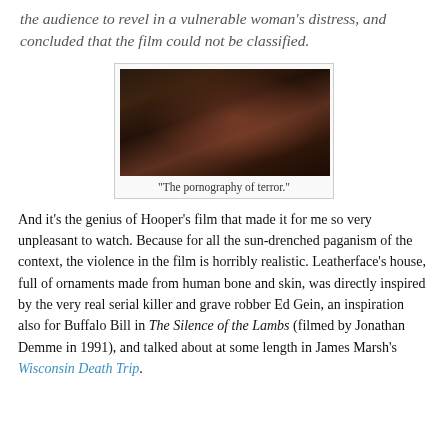the audience to revel in a vulnerable woman's distress, and concluded that the film could not be classified.
[Figure (photo): A woman with hair raised above her head, appearing distressed, in a dark scene.]
“The pornography of terror.”
And it’s the genius of Hooper’s film that made it for me so very unpleasant to watch. Because for all the sun-drenched paganism of the context, the violence in the film is horribly realistic. Leatherface’s house, full of ornaments made from human bone and skin, was directly inspired by the very real serial killer and grave robber Ed Gein, an inspiration also for Buffalo Bill in The Silence of the Lambs (filmed by Jonathan Demme in 1991), and talked about at some length in James Marsh’s Wisconsin Death Trip.